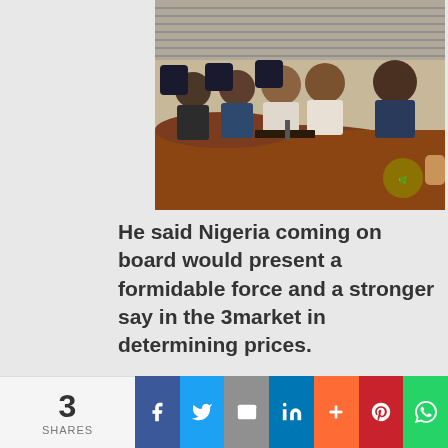[Figure (photo): Group of men in formal attire seated at a large conference/boardroom table in a meeting room with blinds in the background. A logo appears in the bottom-right corner of the image.]
He said Nigeria coming on board would present a formidable force and a stronger say in the 3market in determining prices.
3 SHARES | Facebook | Twitter | Email | LinkedIn | More | Pinterest | WhatsApp